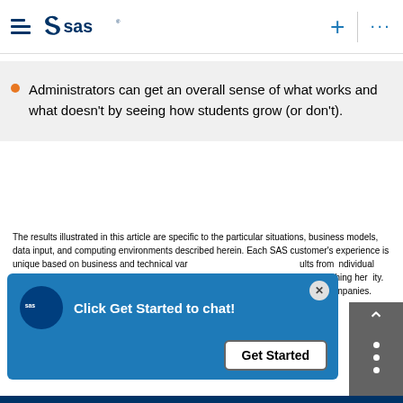SAS header with hamburger menu, SAS logo, plus icon, and ellipsis menu
Administrators can get an overall sense of what works and what doesn't by seeing how students grow (or don't).
The results illustrated in this article are specific to the particular situations, business models, data input, and computing environments described herein. Each SAS customer's experience is unique based on business and technical variables, individual circumstances, and actual savings, results, and performance will vary. SAS does not guarantee or represent that every customer will achieve similar results. Nothing in this article should be construed as a warranty or guarantee, nor should it be considered as a part of SAS's commitment to provide any specific warranty statements. Customers have their own contractual agreements with SAS that exclusively govern SAS's commitments and obligations that are implied. SAS and all other SAS Institute Inc. product or service names are registered trademarks of their respective companies.
[Figure (screenshot): SAS chat popup overlay with 'Click Get Started to chat!' message and 'Get Started' button, plus a back-to-top navigation panel]